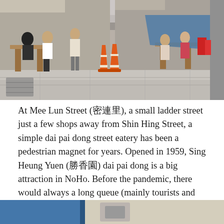[Figure (photo): Street-level photo of Mee Lun Street showing an outdoor dai pai dong eatery with people sitting at tables, orange traffic cones in the middle of the lane, shop fronts, and a narrow street scene in Hong Kong.]
At Mee Lun Street (密連里), a small ladder street just a few shops away from Shin Hing Street, a simple dai pai dong street eatery has been a pedestrian magnet for years. Opened in 1959, Sing Heung Yuen (勝香園) dai pai dong is a big attraction in NoHo. Before the pandemic, there would always a long queue (mainly tourists and young couples) whenever the eatery is opened. [Junction of Mee Lun Street and Gough Street, NoHo, Sheung Wan, 2020]
[Figure (photo): Partial view of another street scene in Hong Kong, showing blue structures and a pale yellow building facade, cropped at the bottom of the page.]